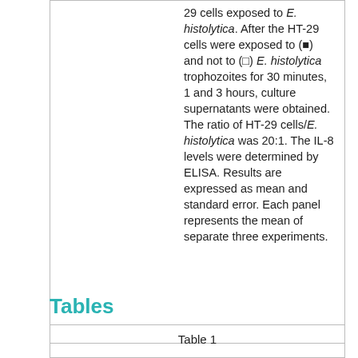29 cells exposed to E. histolytica. After the HT-29 cells were exposed to (■) and not to (□) E. histolytica trophozoites for 30 minutes, 1 and 3 hours, culture supernatants were obtained. The ratio of HT-29 cells/E. histolytica was 20:1. The IL-8 levels were determined by ELISA. Results are expressed as mean and standard error. Each panel represents the mean of separate three experiments.
Tables
Table 1